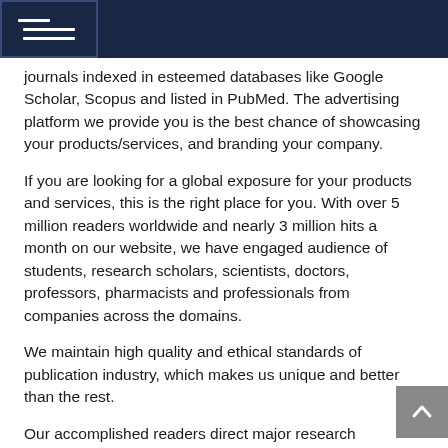Navigation menu header bar
journals indexed in esteemed databases like Google Scholar, Scopus and listed in PubMed. The advertising platform we provide you is the best chance of showcasing your products/services, and branding your company.
If you are looking for a global exposure for your products and services, this is the right place for you. With over 5 million readers worldwide and nearly 3 million hits a month on our website, we have engaged audience of students, research scholars, scientists, doctors, professors, pharmacists and professionals from companies across the domains.
We maintain high quality and ethical standards of publication industry, which makes us unique and better than the rest.
Our accomplished readers direct major research programs, spend millions on supplies and equipment, and recommend patient therapies. If you sell research materials, pharmaceuticals, Antibodies, Clinical Reagents, Chemicals, instruments, or you are looking to recruit that next…